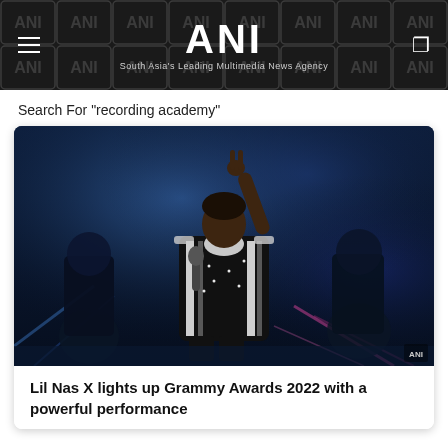ANI — South Asia's Leading Multimedia News Agency
Search For "recording academy"
[Figure (photo): Lil Nas X performing on stage at Grammy Awards 2022, wearing a black and white ornate military-style jacket, raising one hand with a peace sign, holding a microphone, with blue stage lighting and backup performers in background.]
Lil Nas X lights up Grammy Awards 2022 with a powerful performance